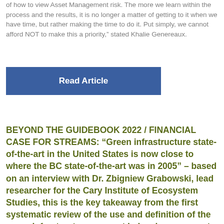of how to view Asset Management risk. The more we learn within the process and the results, it is no longer a matter of getting to it when we have time, but rather making the time to do it. Put simply, we cannot afford NOT to make this a priority," stated Khalie Genereaux.
Read Article
BEYOND THE GUIDEBOOK 2022 / FINANCIAL CASE FOR STREAMS: “Green infrastructure state-of-the-art in the United States is now close to where the BC state-of-the-art was in 2005” – based on an interview with Dr. Zbigniew Grabowski, lead researcher for the Cary Institute of Ecosystem Studies, this is the key takeaway from the first systematic review of the use and definition of the green infrastructure concept in local government